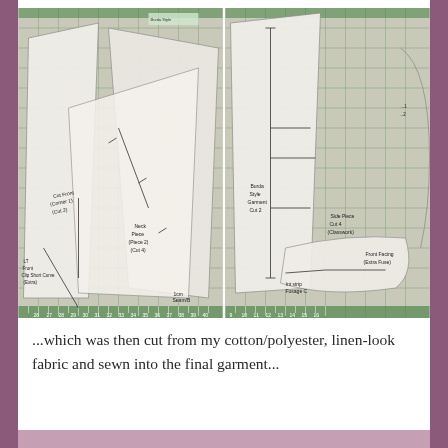[Figure (photo): Two side-by-side photos of sewing pattern pieces laid out on a green cutting mat with measurement rulers. The left photo shows multiple paper pattern pieces with handwritten labels and markings. The right photo shows additional pattern pieces also with handwritten annotations on the same type of cutting mat.]
...which was then cut from my cotton/polyester, linen-look fabric and sewn into the final garment...